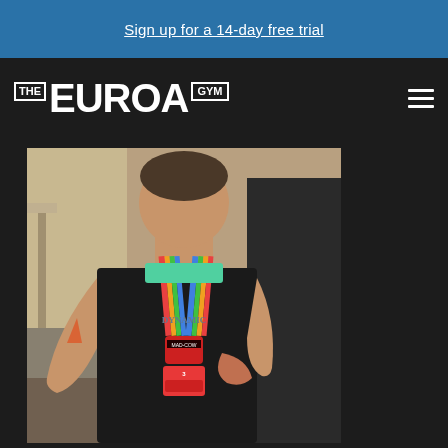Sign up for a 14-day free trial
[Figure (logo): The Euroa Gym logo in white text on dark background]
[Figure (photo): A person wearing a black sleeveless shirt and a colorful medal/lanyard around their neck, at what appears to be a sports event. The shirt reads DYNAMIC MAD-COW.]